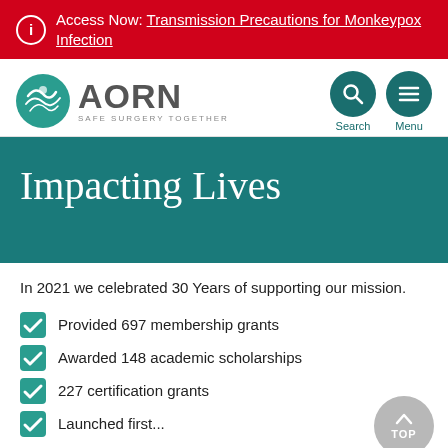Access Now: Transmission Precautions for Monkeypox Infection
[Figure (logo): AORN logo with teal circular emblem and text 'AORN SAFE SURGERY TOGETHER', with search and menu navigation icons]
Impacting Lives
In 2021 we celebrated 30 Years of supporting our mission.
Provided 697 membership grants
Awarded 148 academic scholarships
227 certification grants
Launched first...